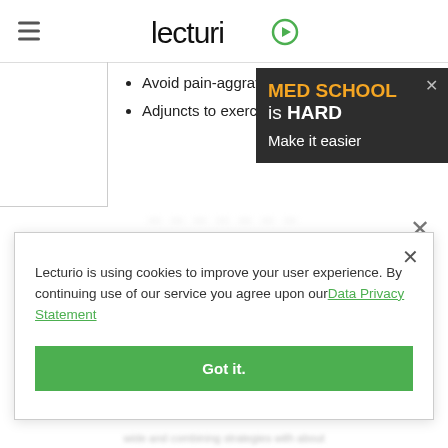Lecturio
Avoid pain-aggravating activities.
Adjuncts to exercise therapy:
[Figure (infographic): MED SCHOOL is HARD — Make it easier (ad tooltip on dark background)]
Lecturio is using cookies to improve your user experience. By continuing use of our service you agree upon our Data Privacy Statement
Got it.